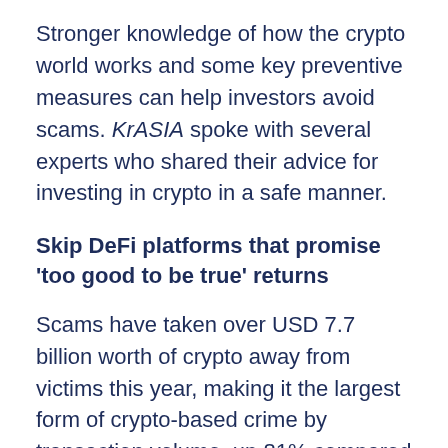Stronger knowledge of how the crypto world works and some key preventive measures can help investors avoid scams. KrASIA spoke with several experts who shared their advice for investing in crypto in a safe manner.
Skip DeFi platforms that promise 'too good to be true' returns
Scams have taken over USD 7.7 billion worth of crypto away from victims this year, making it the largest form of crypto-based crime by transaction volume, up 81% compared to 2020, according to